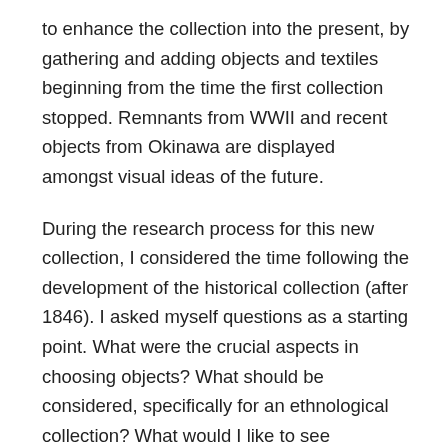to enhance the collection into the present, by gathering and adding objects and textiles beginning from the time the first collection stopped. Remnants from WWII and recent objects from Okinawa are displayed amongst visual ideas of the future.
During the research process for this new collection, I considered the time following the development of the historical collection (after 1846). I asked myself questions as a starting point. What were the crucial aspects in choosing objects? What should be considered, specifically for an ethnological collection? What would I like to see preserved for hundreds of years?
Instead of trying to determine objects that would hold the highest monetary value in the future, I started looking for items that reflect the current Okinawa people's